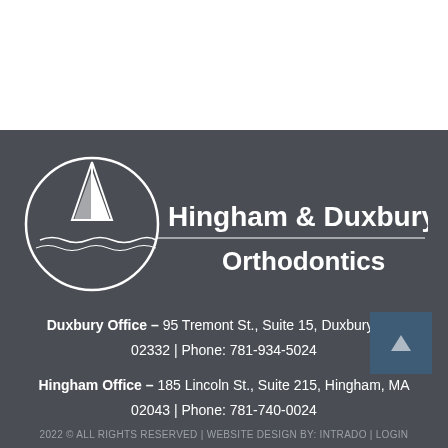[Figure (logo): Hingham & Duxbury Orthodontics logo with sailboat in circle and text]
Duxbury Office – 95 Tremont St., Suite 15, Duxbury, MA 02332 | Phone: 781-934-5024
Hingham Office – 185 Lincoln St., Suite 215, Hingham, MA 02043 | Phone: 781-740-0024
2022 © ALL RIGHTS RESERVED | WEBSITE DESIGN BY: INTRADO | LOGIN